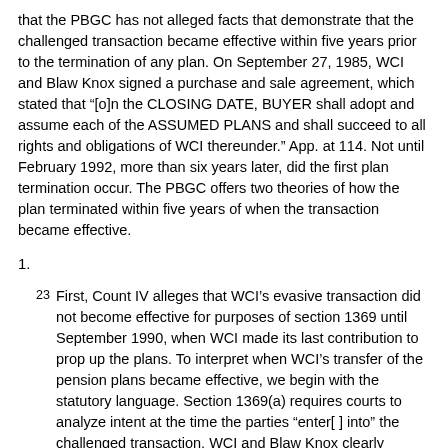that the PBGC has not alleged facts that demonstrate that the challenged transaction became effective within five years prior to the termination of any plan. On September 27, 1985, WCI and Blaw Knox signed a purchase and sale agreement, which stated that "[o]n the CLOSING DATE, BUYER shall adopt and assume each of the ASSUMED PLANS and shall succeed to all rights and obligations of WCI thereunder." App. at 114. Not until February 1992, more than six years later, did the first plan termination occur. The PBGC offers two theories of how the plan terminated within five years of when the transaction became effective.
1.
23 First, Count IV alleges that WCI's evasive transaction did not become effective for purposes of section 1369 until September 1990, when WCI made its last contribution to prop up the plans. To interpret when WCI's transfer of the pension plans became effective, we begin with the statutory language. Section 1369(a) requires courts to analyze intent at the time the parties "enter[ ] into" the challenged transaction. WCI and Blaw Knox clearly entered into this transaction on September 27, 1985, the day the deal closed. In contrast, the relevant five-year period is measured from the time the transaction "became effective." 29 U.S.C. § 1369(a). This differe...